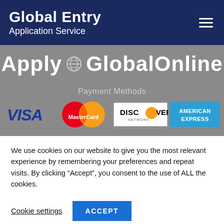Global Entry Application Service
[Figure (screenshot): Apply GlobalOnline banner text on grey background with globe icon]
Payment Methods
[Figure (logo): Payment method logos: VISA, MasterCard, Discover Network, American Express]
We use cookies on our website to give you the most relevant experience by remembering your preferences and repeat visits. By clicking “Accept”, you consent to the use of ALL the cookies.
Cookie settings   ACCEPT